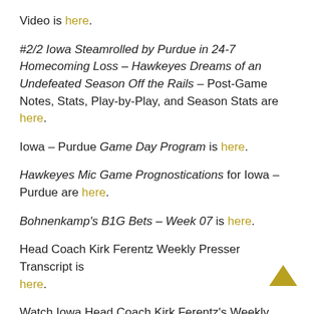Video is here.
#2/2 Iowa Steamrolled by Purdue in 24-7 Homecoming Loss – Hawkeyes Dreams of an Undefeated Season Off the Rails – Post-Game Notes, Stats, Play-by-Play, and Season Stats are here.
Iowa – Purdue Game Day Program is here.
Hawkeyes Mic Game Prognostications for Iowa – Purdue are here.
Bohnenkamp's B1G Bets – Week 07 is here.
Head Coach Kirk Ferentz Weekly Presser Transcript is here.
Watch Iowa Head Coach Kirk Ferentz's Weekly Presser here.
Iowa Depth Sheet + Purdue vs. Purdue 2021 is...